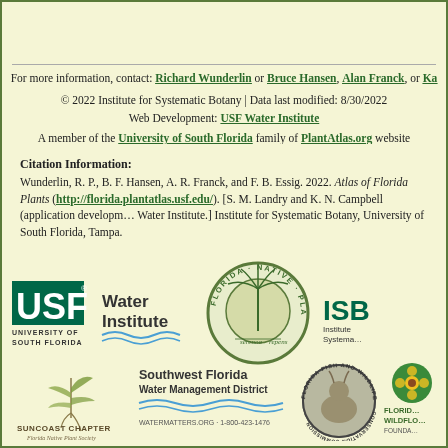For more information, contact: Richard Wunderlin or Bruce Hansen, Alan Franck, or Ka…
© 2022 Institute for Systematic Botany | Data last modified: 8/30/2022
Web Development: USF Water Institute
A member of the University of South Florida family of PlantAtlas.org website
Citation Information:
Wunderlin, R. P., B. F. Hansen, A. R. Franck, and F. B. Essig. 2022. Atlas of Florida Plants (http://florida.plantatlas.usf.edu/). [S. M. Landry and K. N. Campbell (application developm… Water Institute.] Institute for Systematic Botany, University of South Florida, Tampa.
[Figure (logo): USF University of South Florida logo with green background]
[Figure (logo): Water Institute logo with wave design]
[Figure (logo): Florida Native Plant Society circular logo with palm tree and serenoa repens text]
[Figure (logo): ISB Institute for Systematic Botany partial logo]
[Figure (logo): Suncoast Chapter Florida Native Plant Society logo with plant illustration]
[Figure (logo): Southwest Florida Water Management District logo with watermatters.org]
[Figure (logo): Florida Fish and Wildlife Conservation Commission circular logo with deer]
[Figure (logo): Florida Wildflower Foundation partial logo with green circle and yellow flower]